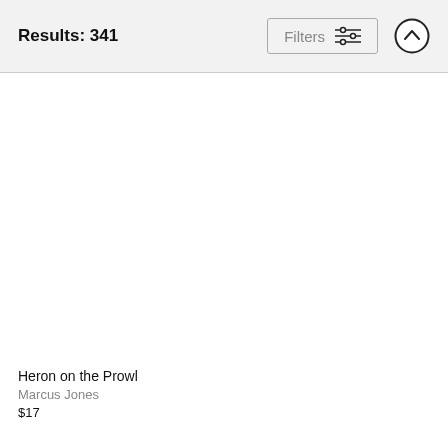Results: 341
Heron on the Prowl
Marcus Jones
$17